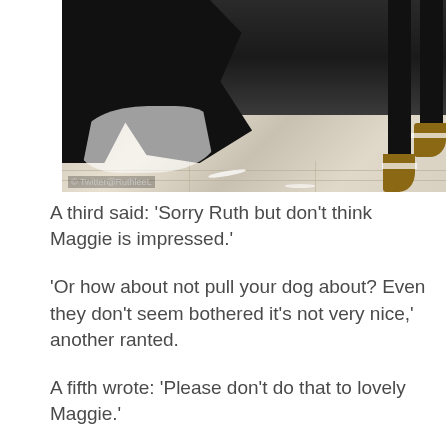[Figure (photo): A black and white dog or cat walking on a tiled floor near a person's legs wearing sandals. Watermark reads: © Twitter@RuthleeL]
A third said: 'Sorry Ruth but don't think Maggie is impressed.'
'Or how about not pull your dog about? Even they don't seem bothered it's not very nice,' another ranted.
A fifth wrote: 'Please don't do that to lovely Maggie.'
'Dogs are not designed to dance! This is not good for her joints. She's going along with it